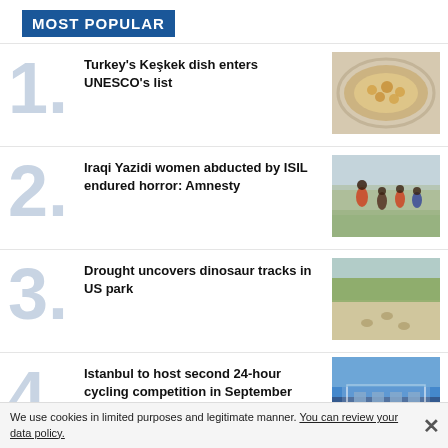MOST POPULAR
Turkey's Keşkek dish enters UNESCO's list
[Figure (photo): Photo of Keşkek dish on a decorative plate]
Iraqi Yazidi women abducted by ISIL endured horror: Amnesty
[Figure (photo): Photo of people in a field, displaced persons]
Drought uncovers dinosaur tracks in US park
[Figure (photo): Photo of dried riverbed with dinosaur footprints]
Istanbul to host second 24-hour cycling competition in September
[Figure (photo): Photo of a building with blue and white architecture]
We use cookies in limited purposes and legitimate manner. You can review your data policy.